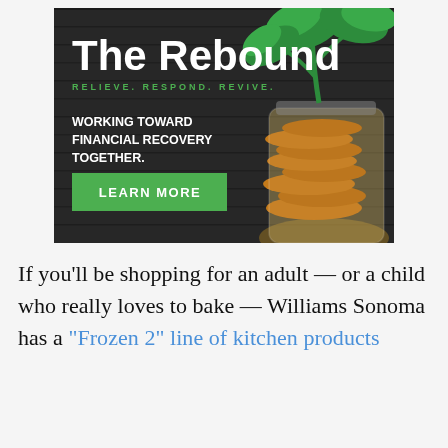[Figure (infographic): The Rebound advertisement banner. Dark wood background with a glass jar full of coins and a green plant growing from it. White bold text reads 'The Rebound', green text reads 'RELIEVE. RESPOND. REVIVE.', white uppercase text reads 'WORKING TOWARD FINANCIAL RECOVERY TOGETHER.' and a green button reads 'LEARN MORE'.]
If you'll be shopping for an adult — or a child who really loves to bake — Williams Sonoma has a "Frozen 2" line of kitchen products